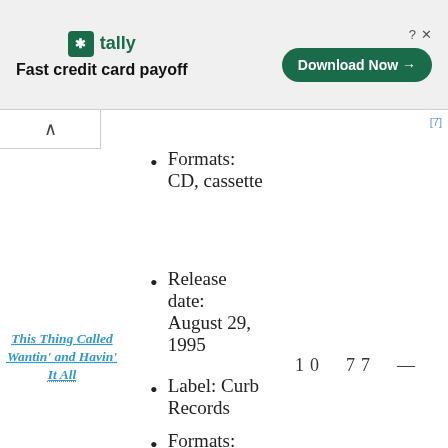[Figure (other): Tally advertisement banner: logo with green icon, text 'tally Fast credit card payoff', green Download Now button, close/help icons]
Formats: CD, cassette
Release date: August 29, 1995
10  77  —
This Thing Called Wantin' and Havin' It All
Label: Curb Records
Formats: